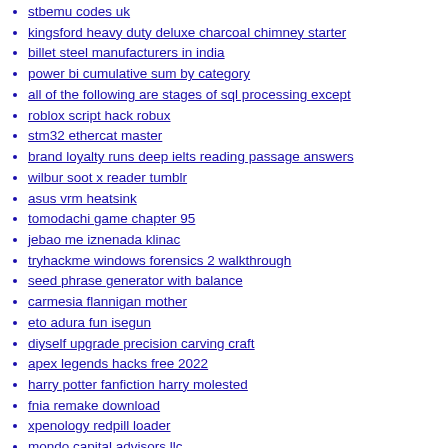stbemu codes uk
kingsford heavy duty deluxe charcoal chimney starter
billet steel manufacturers in india
power bi cumulative sum by category
all of the following are stages of sql processing except
roblox script hack robux
stm32 ethercat master
brand loyalty runs deep ielts reading passage answers
wilbur soot x reader tumblr
asus vrm heatsink
tomodachi game chapter 95
jebao me iznenada klinac
tryhackme windows forensics 2 walkthrough
seed phrase generator with balance
carmesia flannigan mother
eto adura fun isegun
diyself upgrade precision carving craft
apex legends hacks free 2022
harry potter fanfiction harry molested
fnia remake download
xpenology redpill loader
mondo capital advisors llc
sat qas
auto farm giant simulator
kokichi x pregnant reader lemon